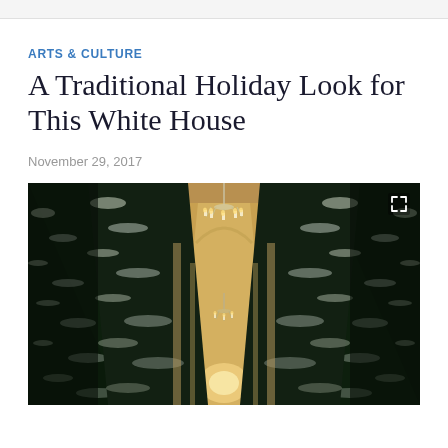ARTS & CULTURE
A Traditional Holiday Look for This White House
November 29, 2017
[Figure (photo): A hallway in the White House decorated with large snow-dusted Christmas trees lining both sides, with crystal chandeliers hanging from the ceiling, photographed looking down the corridor.]